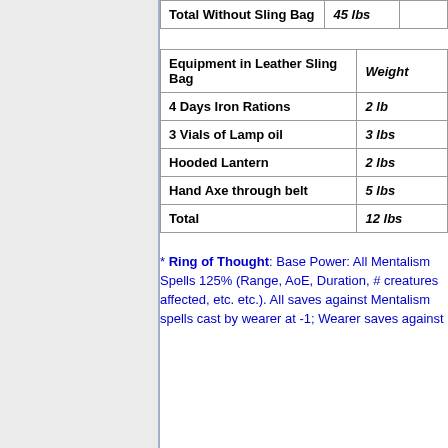|  | Weight |  |
| --- | --- | --- |
| Total Without Sling Bag | 45 lbs |  |
| Equipment in Leather Sling Bag | Weight |
| --- | --- |
| 4 Days Iron Rations | 2 lb |
| 3 Vials of Lamp oil | 3 lbs |
| Hooded Lantern | 2 lbs |
| Hand Axe through belt | 5 lbs |
| Total | 12 lbs |
* Ring of Thought: Base Power: All Mentalism Spells 125% (Range, AoE, Duration, # creatures affected, etc. etc.). All saves against Mentalism spells cast by wearer at -1; Wearer saves against